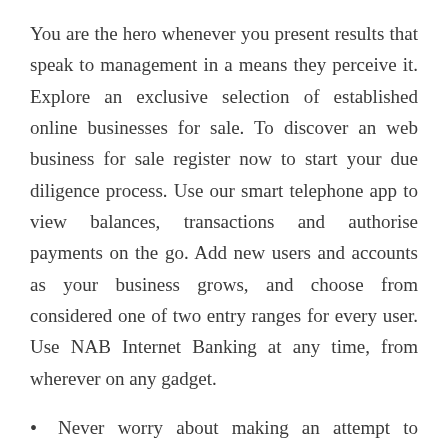You are the hero whenever you present results that speak to management in a means they perceive it. Explore an exclusive selection of established online businesses for sale. To discover an web business for sale register now to start your due diligence process. Use our smart telephone app to view balances, transactions and authorise payments on the go. Add new users and accounts as your business grows, and choose from considered one of two entry ranges for every user. Use NAB Internet Banking at any time, from wherever on any gadget.
Never worry about making an attempt to determine average order worth, buyer lifetime value, or other key metrics again.
Get the iPhone you need for business on America's most awarded network, built to keep your business